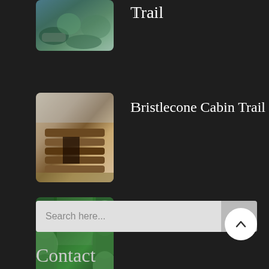[Figure (photo): Partial view of a stream or river with rocks and green vegetation — top of a trail listing card]
Trail
[Figure (photo): Old log cabin ruins in a dry landscape — Bristlecone Cabin Trail thumbnail]
Bristlecone Cabin Trail
[Figure (photo): Fern Canyon with lush green vegetation on canyon walls and logs on the ground — Fern Canyon thumbnail]
Fern Canyon
Search here...
Contact